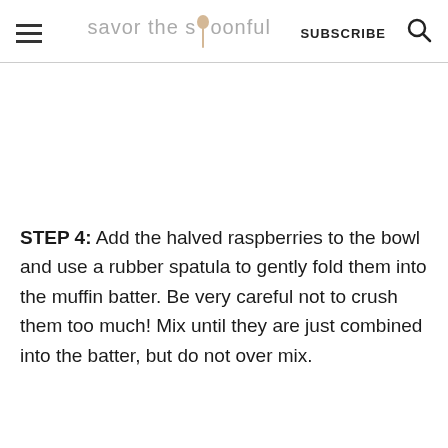savor the spoonful — SUBSCRIBE
STEP 4: Add the halved raspberries to the bowl and use a rubber spatula to gently fold them into the muffin batter. Be very careful not to crush them too much! Mix until they are just combined into the batter, but do not over mix.